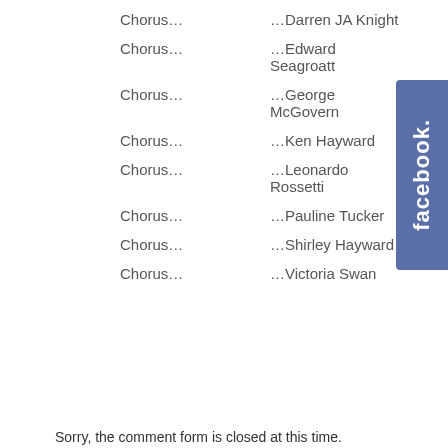Chorus…  …Darren JA Knight
Chorus…  …Edward Seagroatt
Chorus…  …George McGovern
Chorus…  …Ken Hayward
Chorus…  …Leonardo Rossetti
Chorus…  …Pauline Tucker
Chorus…  …Shirley Hayward
Chorus…  …Victoria Swan
[Figure (logo): Facebook logo tab on right side of page]
Sorry, the comment form is closed at this time.